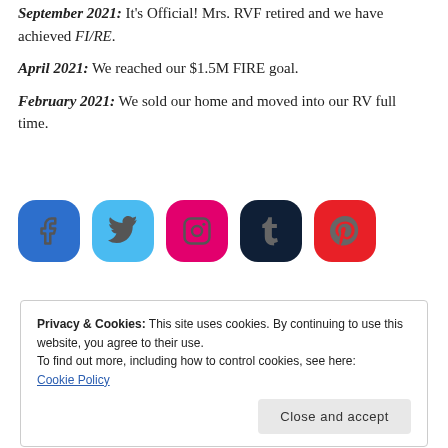September 2021: It's Official! Mrs. RVF retired and we have achieved FI/RE.
April 2021: We reached our $1.5M FIRE goal.
February 2021: We sold our home and moved into our RV full time.
[Figure (infographic): Five social media icon buttons in rounded rectangle shapes: Facebook (blue), Twitter (light blue), Instagram (pink/magenta), Tumblr (dark navy), Pinterest (red)]
Privacy & Cookies: This site uses cookies. By continuing to use this website, you agree to their use. To find out more, including how to control cookies, see here: Cookie Policy   Close and accept